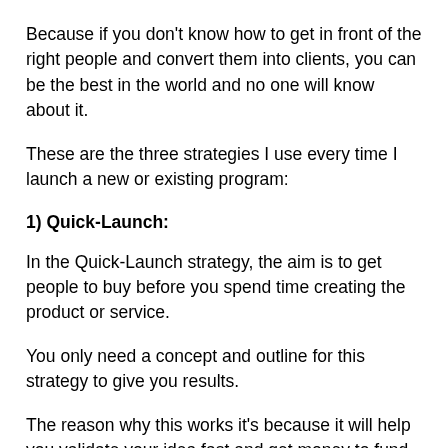Because if you don't know how to get in front of the right people and convert them into clients, you can be the best in the world and no one will know about it.
These are the three strategies I use every time I launch a new or existing program:
1) Quick-Launch:
In the Quick-Launch strategy, the aim is to get people to buy before you spend time creating the product or service.
You only need a concept and outline for this strategy to give you results.
The reason why this works it's because it will help you validate your idea fast and get money to fund the marketing activities for the proper launch.
This strategy works particularly well with existing clients